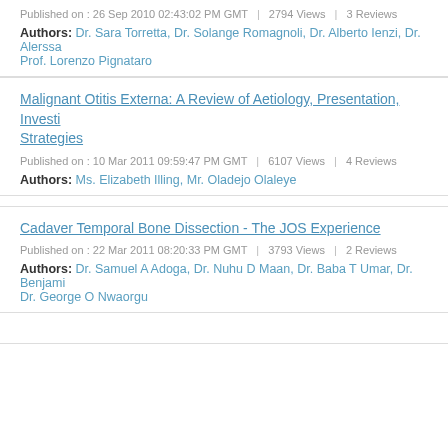Published on : 26 Sep 2010 02:43:02 PM GMT | 2794 Views | 3 Reviews
Authors: Dr. Sara Torretta, Dr. Solange Romagnoli, Dr. Alberto Ienzi, Dr. Alerssa Prof. Lorenzo Pignataro
Malignant Otitis Externa: A Review of Aetiology, Presentation, Investi Strategies
Published on : 10 Mar 2011 09:59:47 PM GMT | 6107 Views | 4 Reviews
Authors: Ms. Elizabeth Illing, Mr. Oladejo Olaleye
Cadaver Temporal Bone Dissection - The JOS Experience
Published on : 22 Mar 2011 08:20:33 PM GMT | 3793 Views | 2 Reviews
Authors: Dr. Samuel A Adoga, Dr. Nuhu D Maan, Dr. Baba T Umar, Dr. Benjami Dr. George O Nwaorgu